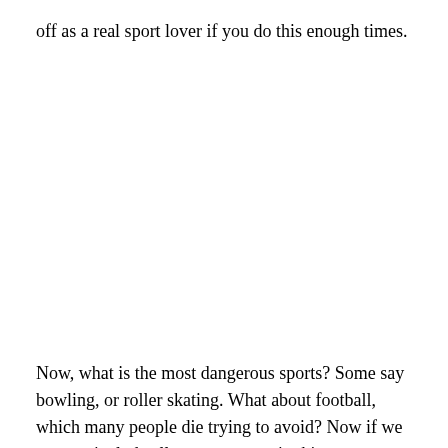off as a real sport lover if you do this enough times.
Now, what is the most dangerous sports? Some say bowling, or roller skating. What about football, which many people die trying to avoid? Now if we were to include all contact sports in this